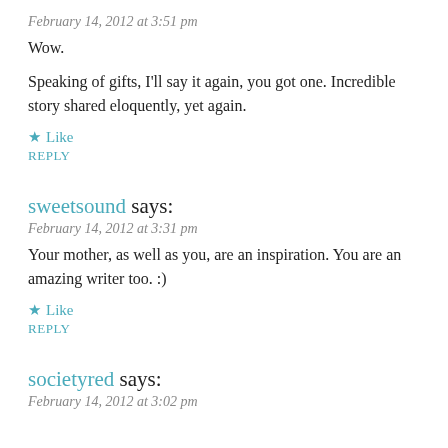February 14, 2012 at 3:51 pm
Wow.
Speaking of gifts, I'll say it again, you got one. Incredible story shared eloquently, yet again.
★ Like
REPLY
sweetsound says:
February 14, 2012 at 3:31 pm
Your mother, as well as you, are an inspiration. You are an amazing writer too. :)
★ Like
REPLY
societyred says:
February 14, 2012 at 3:02 pm